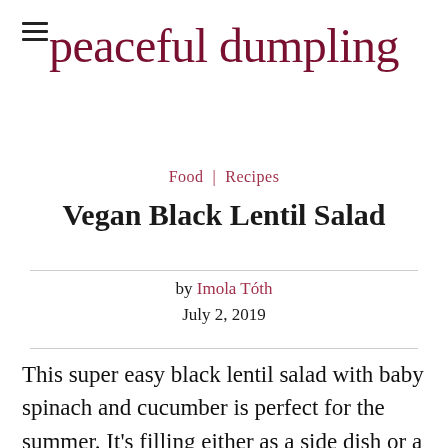peaceful dumpling
Food | Recipes
Vegan Black Lentil Salad
by Imola Tóth
July 2, 2019
This super easy black lentil salad with baby spinach and cucumber is perfect for the summer. It's filling either as a side dish or a main. Cooking the dry black lentil on your own lets you develop the flavor